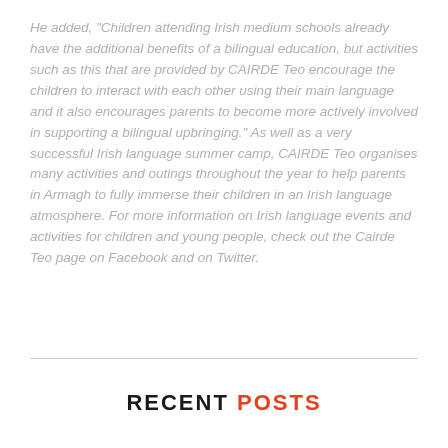He added, "Children attending Irish medium schools already have the additional benefits of a bilingual education, but activities such as this that are provided by CAIRDE Teo encourage the children to interact with each other using their main language and it also encourages parents to become more actively involved in supporting a bilingual upbringing." As well as a very successful Irish language summer camp, CAIRDE Teo organises many activities and outings throughout the year to help parents in Armagh to fully immerse their children in an Irish language atmosphere. For more information on Irish language events and activities for children and young people, check out the Cairde Teo page on Facebook and on Twitter.
RECENT POSTS